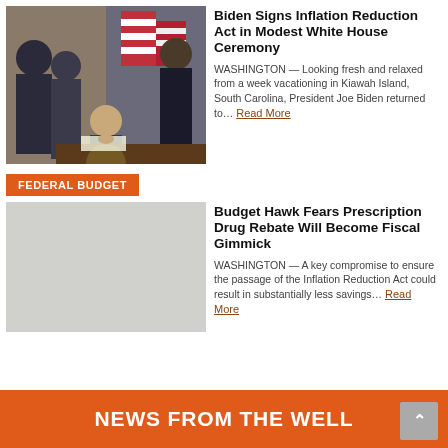[Figure (photo): President Biden signing the Inflation Reduction Act at a White House ceremony, surrounded by officials in front of American flags.]
Biden Signs Inflation Reduction Act in Modest White House Ceremony
WASHINGTON — Looking fresh and relaxed from a week vacationing in Kiawah Island, South Carolina, President Joe Biden returned to… Read More
FEDERAL BUDGET
Budget Hawk Fears Prescription Drug Rebate Will Become Fiscal Gimmick
WASHINGTON — A key compromise to ensure the passage of the Inflation Reduction Act could result in substantially less savings… Read More
NEWS FROM THE WELL